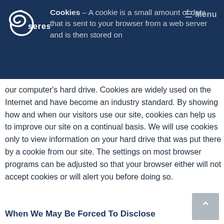Cookies – A cookie is a small amount of data that is sent to your browser from a web server and is then stored on
our computer's hard drive. Cookies are widely used on the Internet and have become an industry standard. By showing how and when our visitors use our site, cookies can help us to improve our site on a continual basis. We will use cookies only to view information on your hard drive that was put there by a cookie from our site. The settings on most browser programs can be adjusted so that your browser either will not accept cookies or will alert you before doing so.
When We May Be Forced To Disclose